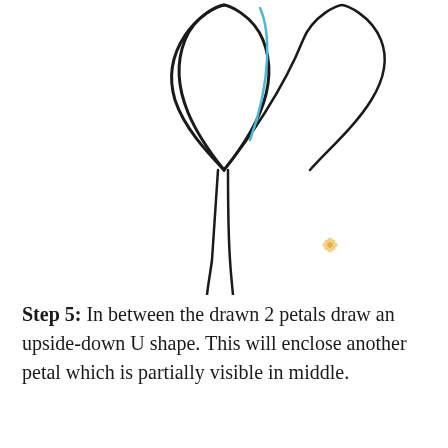[Figure (illustration): A step-by-step drawing tutorial illustration showing two black leaf-shaped petals at the top of a stem, with a blue curved line indicating where to draw a third petal forming an upside-down U shape between them. A small decorative flower icon appears at the lower right of the drawing. The stem extends downward.]
Step 5: In between the drawn 2 petals draw an upside-down U shape. This will enclose another petal which is partially visible in middle.